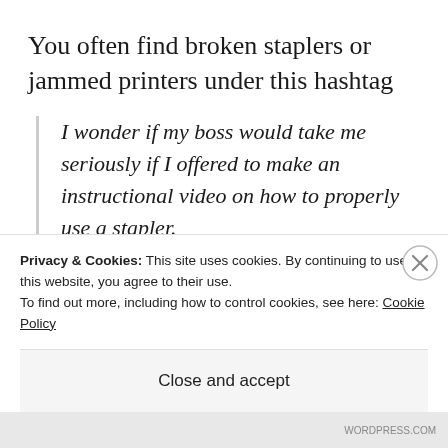You often find broken staplers or jammed printers under this hashtag
I wonder if my boss would take me seriously if I offered to make an instructional video on how to properly use a stapler. #libraryproblems
Tweed Fox (@nahetya) February 14
Privacy & Cookies: This site uses cookies. By continuing to use this website, you agree to their use.
To find out more, including how to control cookies, see here: Cookie Policy
Close and accept